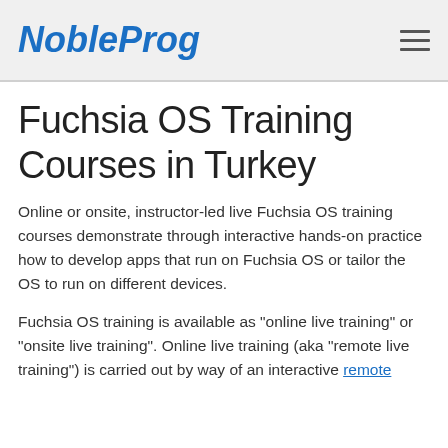NobleProg
Fuchsia OS Training Courses in Turkey
Online or onsite, instructor-led live Fuchsia OS training courses demonstrate through interactive hands-on practice how to develop apps that run on Fuchsia OS or tailor the OS to run on different devices.
Fuchsia OS training is available as "online live training" or "onsite live training". Online live training (aka "remote live training") is carried out by way of an interactive remote